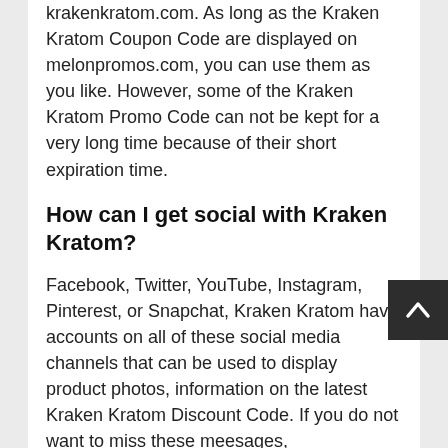Don't be worried about shopping on krakenkratom.com. As long as the Kraken Kratom Coupon Code are displayed on melonpromos.com, you can use them as you like. However, some of the Kraken Kratom Promo Code can not be kept for a very long time because of their short expiration time.
How can I get social with Kraken Kratom?
Facebook, Twitter, YouTube, Instagram, Pinterest, or Snapchat, Kraken Kratom have accounts on all of these social media channels that can be used to display product photos, information on the latest Kraken Kratom Discount Code. If you do not want to miss these meesages,